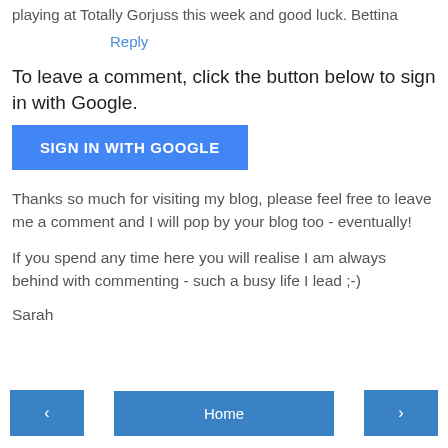playing at Totally Gorjuss this week and good luck. Bettina
Reply
To leave a comment, click the button below to sign in with Google.
[Figure (screenshot): Blue button labeled SIGN IN WITH GOOGLE]
Thanks so much for visiting my blog, please feel free to leave me a comment and I will pop by your blog too - eventually!
If you spend any time here you will realise I am always behind with commenting - such a busy life I lead ;-)
Sarah
[Figure (screenshot): Navigation bar with left arrow button, Home button, and right arrow button]